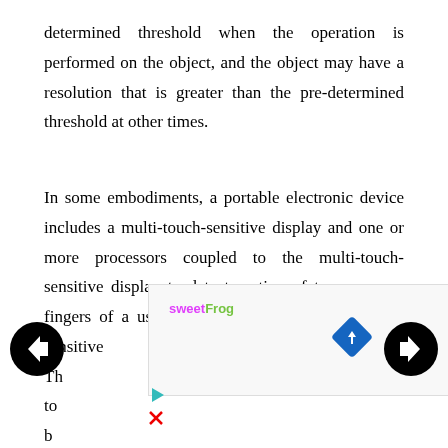determined threshold when the operation is performed on the object, and the object may have a resolution that is greater than the pre-determined threshold at other times.
In some embodiments, a portable electronic device includes a multi-touch-sensitive display and one or more processors coupled to the multi-touch-sensitive display to detect motion of two or more fingers of a user in contact with the multi-touch-sensitive display. The [obscured] ion to b[obscured] o the [obscured] hen